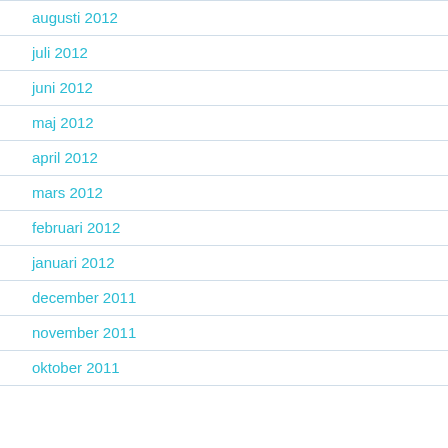augusti 2012
juli 2012
juni 2012
maj 2012
april 2012
mars 2012
februari 2012
januari 2012
december 2011
november 2011
oktober 2011